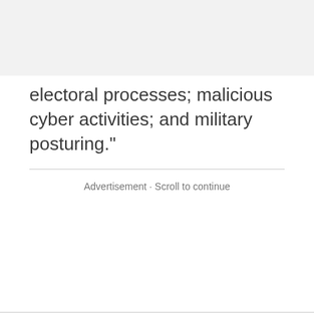electoral processes; malicious cyber activities; and military posturing."
Advertisement · Scroll to continue